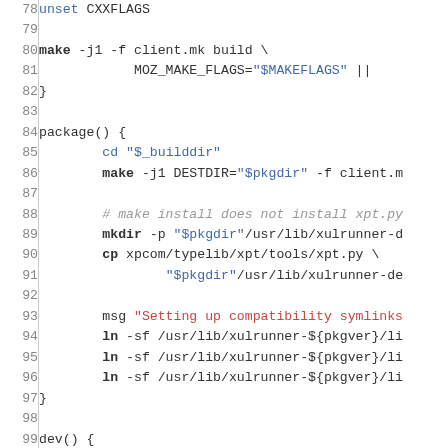Source code listing lines 78-107, shell/build script package file with syntax highlighting